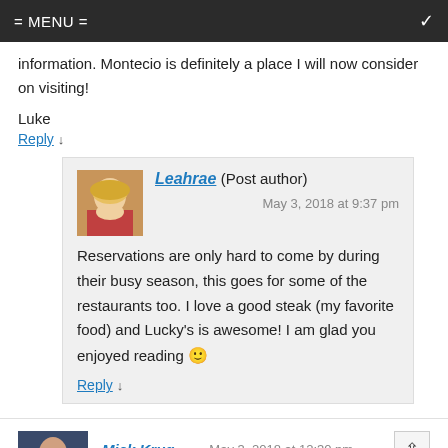= MENU =
information. Montecio is definitely a place I will now consider on visiting!
Luke
Reply ↓
Leahrae (Post author)
May 3, 2018 at 9:37 pm
Reservations are only hard to come by during their busy season, this goes for some of the restaurants too. I love a good steak (my favorite food) and Lucky's is awesome! I am glad you enjoyed reading 🙂
Reply ↓
Mick Krug
May 3, 2018 at 12:30 pm